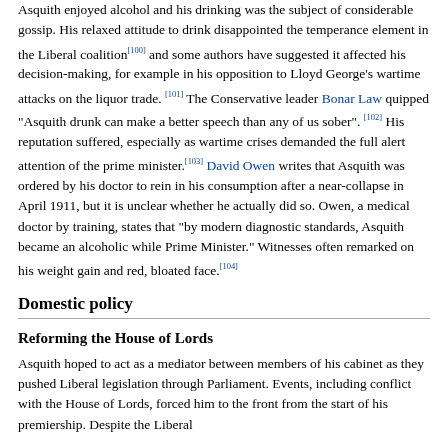Asquith enjoyed alcohol and his drinking was the subject of considerable gossip. His relaxed attitude to drink disappointed the temperance element in the Liberal coalition[100] and some authors have suggested it affected his decision-making, for example in his opposition to Lloyd George's wartime attacks on the liquor trade.[101] The Conservative leader Bonar Law quipped "Asquith drunk can make a better speech than any of us sober".[102] His reputation suffered, especially as wartime crises demanded the full alert attention of the prime minister.[103] David Owen writes that Asquith was ordered by his doctor to rein in his consumption after a near-collapse in April 1911, but it is unclear whether he actually did so. Owen, a medical doctor by training, states that "by modern diagnostic standards, Asquith became an alcoholic while Prime Minister." Witnesses often remarked on his weight gain and red, bloated face.[104]
Domestic policy
Reforming the House of Lords
Asquith hoped to act as a mediator between members of his cabinet as they pushed Liberal legislation through Parliament. Events, including conflict with the House of Lords, forced him to the front from the start of his premiership. Despite the Liberal...